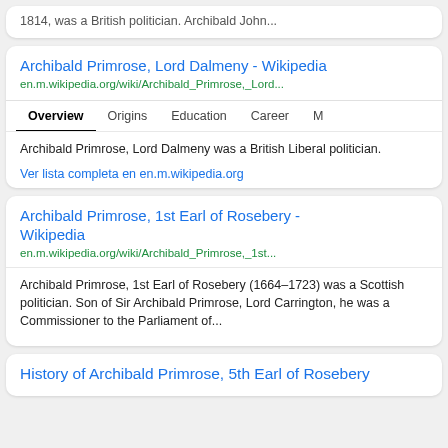1814, was a British politician. Archibald John...
Archibald Primrose, Lord Dalmeny - Wikipedia
en.m.wikipedia.org/wiki/Archibald_Primrose,_Lord...
Overview | Origins | Education | Career | M
Archibald Primrose, Lord Dalmeny was a British Liberal politician.
Ver lista completa en en.m.wikipedia.org
Archibald Primrose, 1st Earl of Rosebery - Wikipedia
en.m.wikipedia.org/wiki/Archibald_Primrose,_1st...
Archibald Primrose, 1st Earl of Rosebery (1664–1723) was a Scottish politician. Son of Sir Archibald Primrose, Lord Carrington, he was a Commissioner to the Parliament of...
History of Archibald Primrose, 5th Earl of Rosebery